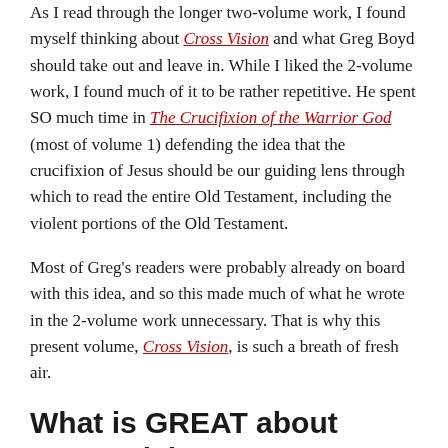As I read through the longer two-volume work, I found myself thinking about Cross Vision and what Greg Boyd should take out and leave in. While I liked the 2-volume work, I found much of it to be rather repetitive. He spent SO much time in The Crucifixion of the Warrior God (most of volume 1) defending the idea that the crucifixion of Jesus should be our guiding lens through which to read the entire Old Testament, including the violent portions of the Old Testament.
Most of Greg's readers were probably already on board with this idea, and so this made much of what he wrote in the 2-volume work unnecessary. That is why this present volume, Cross Vision, is such a breath of fresh air.
What is GREAT about Cross Vision
In a concise and easy-to-read way, Greg Boyd presents the central ideas of his cruciform hermeneutic (how to read the